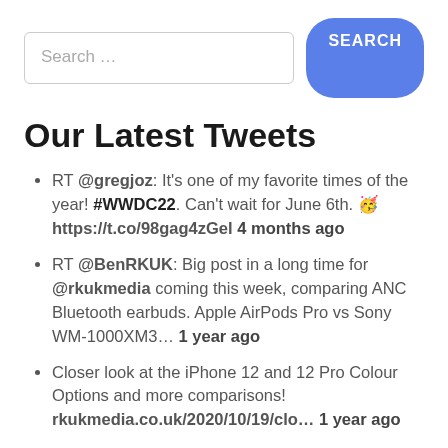[Figure (screenshot): Search bar with text input field showing placeholder 'Search...' and a blue rounded 'SEARCH' button]
Our Latest Tweets
RT @gregjoz: It's one of my favorite times of the year! #WWDC22. Can't wait for June 6th. 🥳 https://t.co/98gag4zGel 4 months ago
RT @BenRKUK: Big post in a long time for @rkukmedia coming this week, comparing ANC Bluetooth earbuds. Apple AirPods Pro vs Sony WM-1000XM3... 1 year ago
Closer look at the iPhone 12 and 12 Pro Colour Options and more comparisons! rkukmedia.co.uk/2020/10/19/clo... 1 year ago
RT @BenRKUK: There should be a post shortly up, for the progress for the future of @rkukmedia which